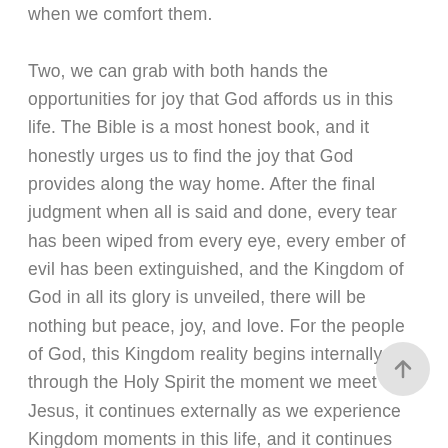when we comfort them.

Two, we can grab with both hands the opportunities for joy that God affords us in this life. The Bible is a most honest book, and it honestly urges us to find the joy that God provides along the way home. After the final judgment when all is said and done, every tear has been wiped from every eye, every ember of evil has been extinguished, and the Kingdom of God in all its glory is unveiled, there will be nothing but peace, joy, and love. For the people of God, this Kingdom reality begins internally through the Holy Spirit the moment we meet Jesus, it continues externally as we experience Kingdom moments in this life, and it continues eternally in the presence of